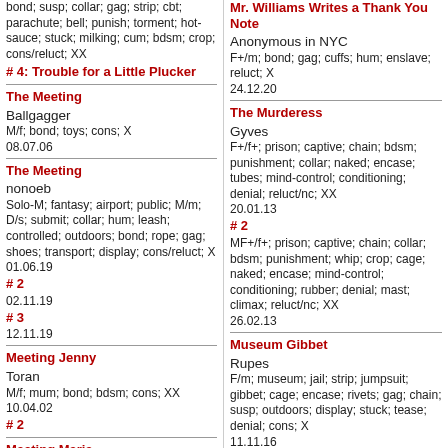bond; susp; collar; gag; strip; cbt; parachute; bell; punish; torment; hot-sauce; stuck; milking; cum; bdsm; crop; cons/reluct; XX
# 4: Trouble for a Little Plucker
The Meeting
Ballgagger
M/f; bond; toys; cons; X
08.07.06
The Meeting
nonoeb
Solo-M; fantasy; airport; public; M/m; D/s; submit; collar; hum; leash; controlled; outdoors; bond; rope; gag; shoes; transport; display; cons/reluct; X
01.06.19
# 2
02.11.19
# 3
12.11.19
Meeting Jenny
Toran
M/f; mum; bond; bdsm; cons; XX
10.04.02
# 2
Meeting Maria
Mr. Williams Writes a Thank You Note
Anonymous in NYC
F+/m; bond; gag; cuffs; hum; enslave; reluct; X
24.12.20
The Murderess
Gyves
F+/f+; prison; captive; chain; bdsm; punishment; collar; naked; encase; tubes; mind-control; conditioning; denial; reluct/nc; XX
20.01.13
# 2
MF+/f+; prison; captive; chain; collar; bdsm; punishment; whip; crop; cage; naked; encase; mind-control; conditioning; rubber; denial; mast; climax; reluct/nc; XX
26.02.13
Museum Gibbet
Rupes
F/m; museum; jail; strip; jumpsuit; gibbet; cage; encase; rivets; gag; chain; susp; outdoors; display; stuck; tease; denial; cons; X
11.11.16
Museum of the Future
Rupes